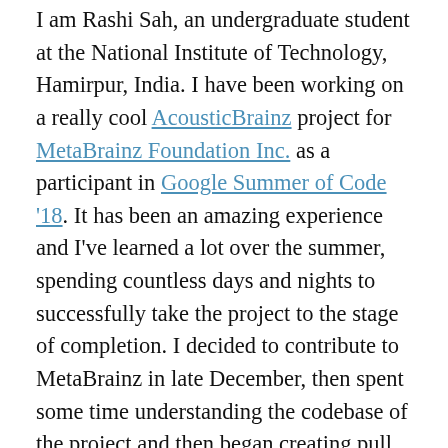I am Rashi Sah, an undergraduate student at the National Institute of Technology, Hamirpur, India. I have been working on a really cool AcousticBrainz project for MetaBrainz Foundation Inc. as a participant in Google Summer of Code '18. It has been an amazing experience and I've learned a lot over the summer, spending countless days and nights to successfully take the project to the stage of completion. I decided to contribute to MetaBrainz in late December, then spent some time understanding the codebase of the project and then began creating pull requests and pushing commits for many features, tasks and fixing bugs since January 2018. This blog post consists of my GSoC experience as a student and the work I've done for the program so far.